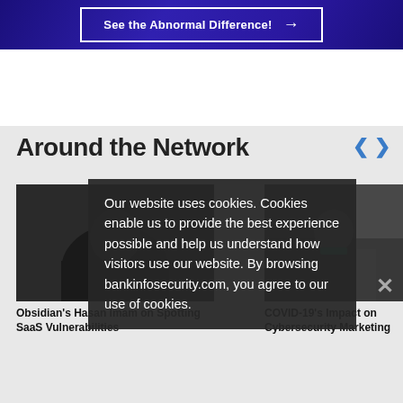[Figure (screenshot): Banner with dark blue/purple gradient background showing a 'See the Abnormal Difference!' button with arrow]
Around the Network
[Figure (photo): Dark image of a person (Hasan Imam) for Obsidian's video card]
Obsidian's Hasan Imam on Spotting SaaS Vulnerabilities
[Figure (photo): Dark image of a woman in business attire for COVID-19 cybersecurity marketing card]
COVID-19's Impact on Cybersecurity Marketing
Our website uses cookies. Cookies enable us to provide the best experience possible and help us understand how visitors use our website. By browsing bankinfosecurity.com, you agree to our use of cookies.